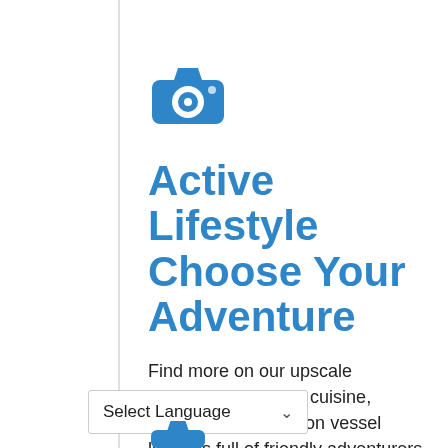[Figure (illustration): Blue camera icon]
Active Lifestyle Choose Your Adventure
Find more on our upscale amenities, high-end cuisine, unlimited open bar, on vessel lounges full of friendly adventurers and daily mulit-activity excursions to choose from. Adult-only specials now available.
[Figure (screenshot): Select Language dropdown UI element]